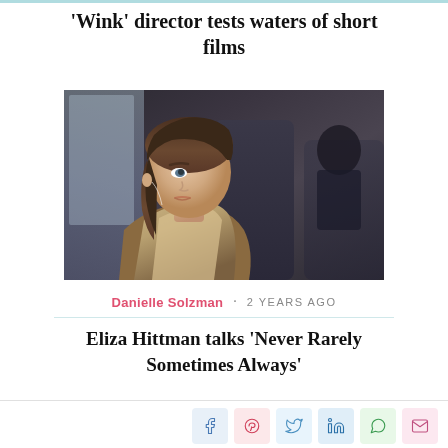'Wink' director tests waters of short films
[Figure (photo): Young woman with dark hair sitting on a bus or train, wearing a beige hoodie and brown jacket, looking pensively to the side. Another person is visible in the background.]
Danielle Solzman · 2 YEARS AGO
Eliza Hittman talks 'Never Rarely Sometimes Always'